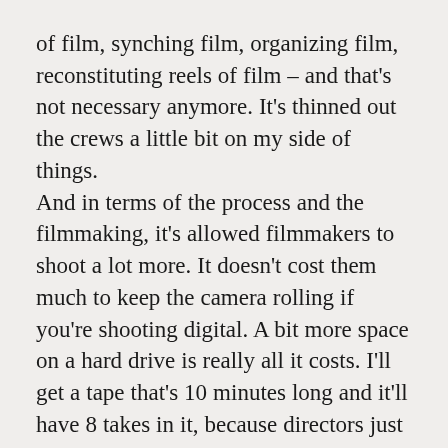of film, synching film, organizing film, reconstituting reels of film – and that's not necessary anymore. It's thinned out the crews a little bit on my side of things.
And in terms of the process and the filmmaking, it's allowed filmmakers to shoot a lot more. It doesn't cost them much to keep the camera rolling if you're shooting digital. A bit more space on a hard drive is really all it costs. I'll get a tape that's 10 minutes long and it'll have 8 takes in it, because directors just keep rolling.
All that being said, I don't know that it's changed that much. The format you're shooting on